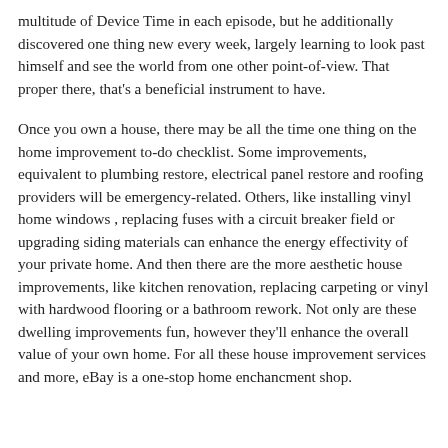multitude of Device Time in each episode, but he additionally discovered one thing new every week, largely learning to look past himself and see the world from one other point-of-view. That proper there, that's a beneficial instrument to have.
Once you own a house, there may be all the time one thing on the home improvement to-do checklist. Some improvements, equivalent to plumbing restore, electrical panel restore and roofing providers will be emergency-related. Others, like installing vinyl home windows , replacing fuses with a circuit breaker field or upgrading siding materials can enhance the energy effectivity of your private home. And then there are the more aesthetic house improvements, like kitchen renovation, replacing carpeting or vinyl with hardwood flooring or a bathroom rework. Not only are these dwelling improvements fun, however they'll enhance the overall value of your own home. For all these house improvement services and more, eBay is a one-stop home enchancment shop.